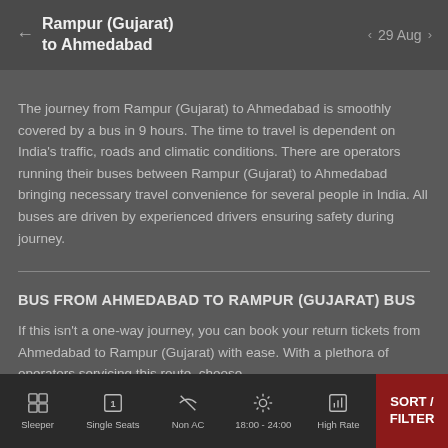Rampur (Gujarat) to Ahmedabad — 29 Aug
The journey from Rampur (Gujarat) to Ahmedabad is smoothly covered by a bus in 9 hours. The time to travel is dependent on India's traffic, roads and climatic conditions. There are operators running their buses between Rampur (Gujarat) to Ahmedabad bringing necessary travel convenience for several people in India. All buses are driven by experienced drivers ensuring safety during journey.
BUS FROM AHMEDABAD TO RAMPUR (GUJARAT) BUS
If this isn't a one-way journey, you can book your return tickets from Ahmedabad to Rampur (Gujarat) with ease. With a plethora of operators servicing this route, choose
Sleeper | Single Seats | Non AC | 18:00 - 24:00 | High Rate | SORT / FILTER